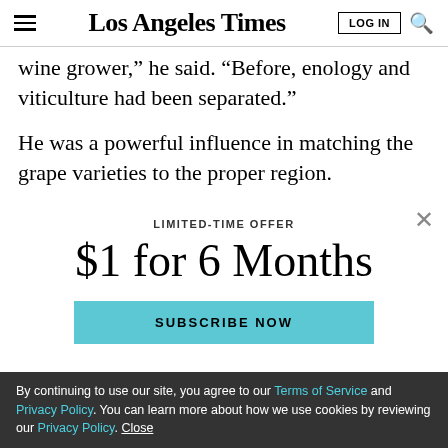Los Angeles Times
wine grower,” he said. “Before, enology and viticulture had been separated.”
He was a powerful influence in matching the grape varieties to the proper region.
[Figure (screenshot): Paywall modal overlay with limited-time offer: $1 for 6 Months, Subscribe Now button in teal/cyan]
By continuing to use our site, you agree to our Terms of Service and Privacy Policy. You can learn more about how we use cookies by reviewing our Privacy Policy. Close